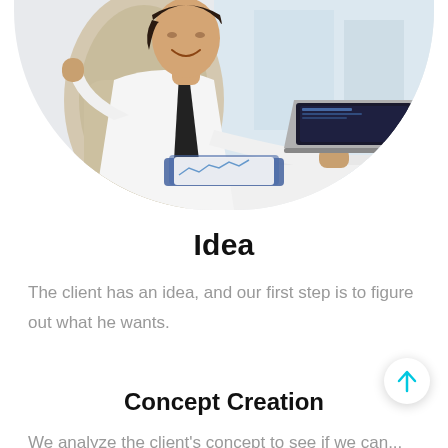[Figure (photo): Businessman in white shirt and dark tie smiling while working on a laptop at a desk with documents, office background]
Idea
The client has an idea, and our first step is to figure out what he wants.
Concept Creation
We analyze the client's concept to see if we can...